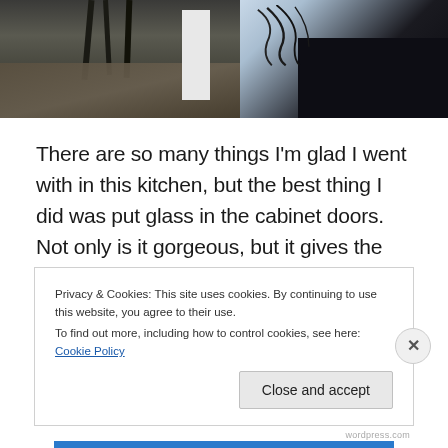[Figure (photo): Kitchen interior photo strip showing chair legs on tile floor on the left half and a dark room scene with cords/cables on the right half]
There are so many things I'm glad I went with in this kitchen, but the best thing I did was put glass in the cabinet doors. Not only is it gorgeous, but it gives the illusion of space and openness. Next Saturday, all the electrical things will be finished up. There's undermount lighting on the cabinets that's not ready yet. I can't wait to see it.
Privacy & Cookies: This site uses cookies. By continuing to use this website, you agree to their use.
To find out more, including how to control cookies, see here: Cookie Policy

Close and accept